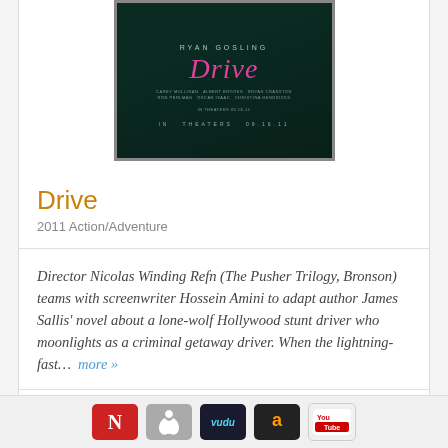[Figure (photo): Movie poster for Drive (2011) featuring pink cursive title text on a dark teal background with actor name Ryan Gosling at top]
Drive
2011 Action/Adventure
Director Nicolas Winding Refn (The Pusher Trilogy, Bronson) teams with screenwriter Hossein Amini to adapt author James Sallis' novel about a lone-wolf Hollywood stunt driver who moonlights as a criminal getaway driver. When the lightning-fast...  more »
31 Reviews
49 Awards
[Figure (infographic): Streaming service icons: Netflix (N), iTunes/Apple, Vudu, Amazon, YouTube]